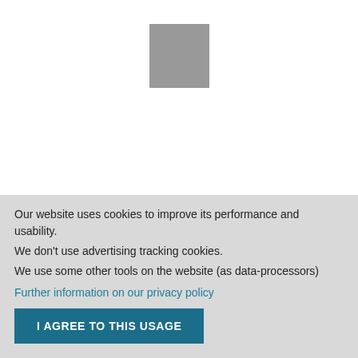[Figure (photo): Product image placeholder — gray square representing a product photo of Contour Antique Copper Intermediate Toggle Switch]
Contour Antique Copper Intermediate Toggle Switch (1 Gang)
Our website uses cookies to improve its performance and usability. We don't use advertising tracking cookies. We use some other tools on the website (as data-processors)
Further information on our privacy policy
I AGREE TO THIS USAGE